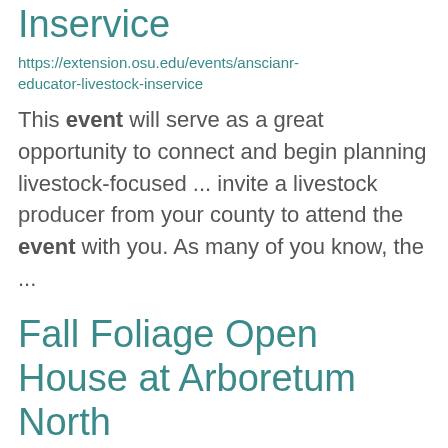Inservice
https://extension.osu.edu/events/anscianr-educator-livestock-inservice
This event will serve as a great opportunity to connect and begin planning livestock-focused ... invite a livestock producer from your county to attend the event with you. As many of you know, the ...
Fall Foliage Open House at Arboretum North
https://chadwickarboretum.osu.edu/events/fall-foliage-open-house-arboretum-north
pass for free parking during the event at the Nationwide and Ohio Farm Bureau 4-H Center. If parking